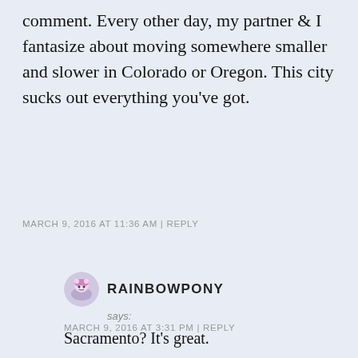comment. Every other day, my partner & I fantasize about moving somewhere smaller and slower in Colorado or Oregon. This city sucks out everything you've got.
MARCH 9, 2016 AT 11:36 AM | REPLY
RAINBOWPONY
says:
Sacramento? It's great.
MARCH 9, 2016 AT 3:31 PM | REPLY